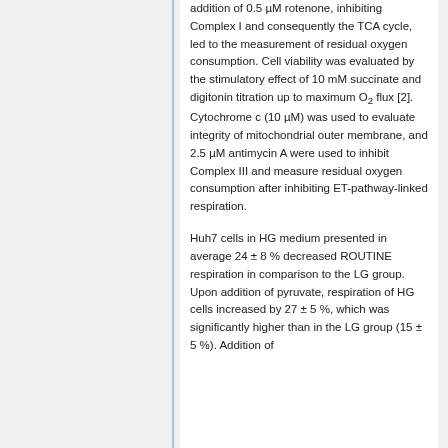addition of 0.5 µM rotenone, inhibiting Complex I and consequently the TCA cycle, led to the measurement of residual oxygen consumption. Cell viability was evaluated by the stimulatory effect of 10 mM succinate and digitonin titration up to maximum O2 flux [2]. Cytochrome c (10 µM) was used to evaluate integrity of mitochondrial outer membrane, and 2.5 µM antimycin A were used to inhibit Complex III and measure residual oxygen consumption after inhibiting ET-pathway-linked respiration.
Huh7 cells in HG medium presented in average 24 ± 8 % decreased ROUTINE respiration in comparison to the LG group. Upon addition of pyruvate, respiration of HG cells increased by 27 ± 5 %, which was significantly higher than in the LG group (15 ± 5 %). Addition of